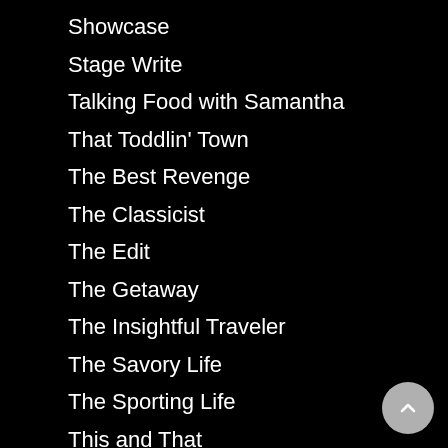Showcase
Stage Write
Talking Food with Samantha
That Toddlin' Town
The Best Revenge
The Classicist
The Edit
The Getaway
The Insightful Traveler
The Savory Life
The Sporting Life
This and That
Uncategorized
Unsung Gems
Vintage
Vintage Vantage
Weekend Road Trips
Words Worldwide